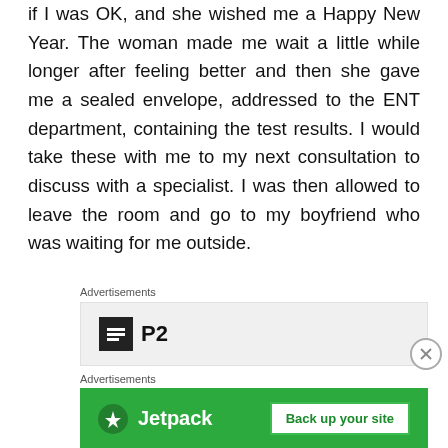if I was OK, and she wished me a Happy New Year. The woman made me wait a little while longer after feeling better and then she gave me a sealed envelope, addressed to the ENT department, containing the test results. I would take these with me to my next consultation to discuss with a specialist. I was then allowed to leave the room and go to my boyfriend who was waiting for me outside.
Advertisements
[Figure (logo): P2 logo — black square icon with white lines and bold text 'P2' beside it, on a light grey advertisement background]
Advertisements
[Figure (logo): Jetpack advertisement banner — green background with Jetpack logo on the left and a white 'Back up your site' button on the right]